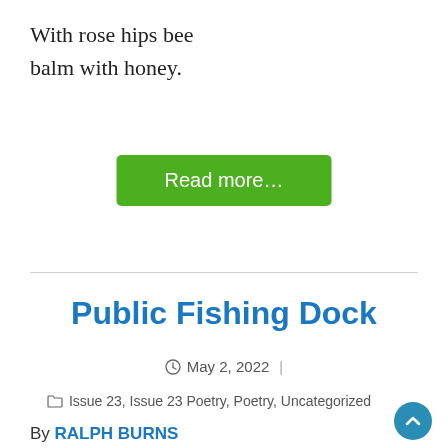With rose hips bee balm with honey.
Read more...
Public Fishing Dock
May 2, 2022
Issue 23, Issue 23 Poetry, Poetry, Uncategorized
By RALPH BURNS